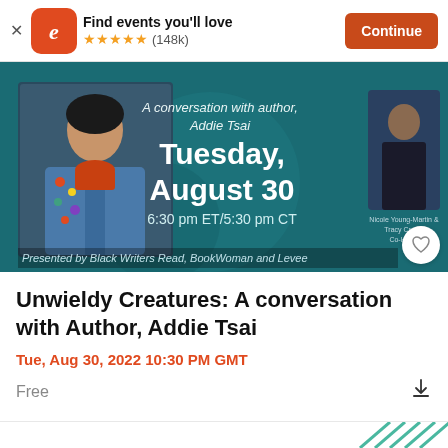Find events you'll love  (148k)  Continue
[Figure (screenshot): Event promotional banner for 'Unwieldy Creatures: A conversation with author, Addie Tsai'. Shows Tuesday, August 30, 6:30 pm ET/5:30 pm CT. Presented by Black Writers Read, BookWoman and Levee. Features photo of Addie Tsai on left and Nicole Young-Martin & Tracy Cross, Co-Hosts on right. Teal/dark background.]
Unwieldy Creatures: A conversation with Author, Addie Tsai
Tue, Aug 30, 2022 10:30 PM GMT
Free